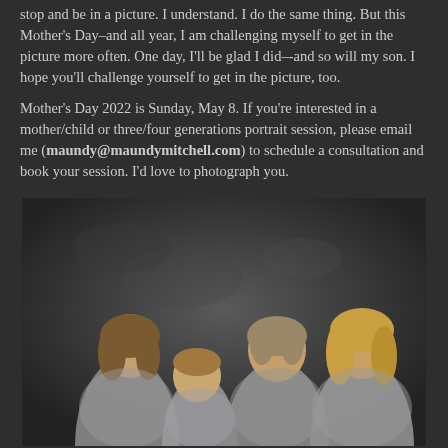stop and be in a picture. I understand. I do the same thing. But this Mother's Day–and all year, I am challenging myself to get in the picture more often. One day, I'll be glad I did–-and so will my son. I hope you'll challenge yourself to get in the picture, too.

Mother's Day 2022 is Sunday, May 8. If you're interested in a mother/child or three/four generations portrait session, please email me (maundy@maundymitchell.com) to schedule a consultation and book your session. I'd love to photograph you.
[Figure (photo): Studio portrait photograph of four people against a dark grey textured backdrop: a young woman on the left, a young boy in the middle-left kissing her cheek, an older woman in the center-right, and another woman on the far right. All are wearing light grey clothing.]